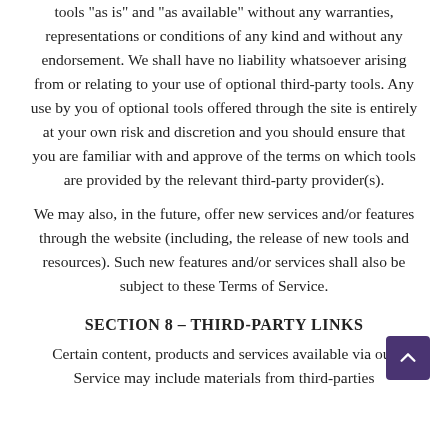tools "as is" and "as available" without any warranties, representations or conditions of any kind and without any endorsement. We shall have no liability whatsoever arising from or relating to your use of optional third-party tools. Any use by you of optional tools offered through the site is entirely at your own risk and discretion and you should ensure that you are familiar with and approve of the terms on which tools are provided by the relevant third-party provider(s).
We may also, in the future, offer new services and/or features through the website (including, the release of new tools and resources). Such new features and/or services shall also be subject to these Terms of Service.
SECTION 8 – THIRD-PARTY LINKS
Certain content, products and services available via our Service may include materials from third-parties